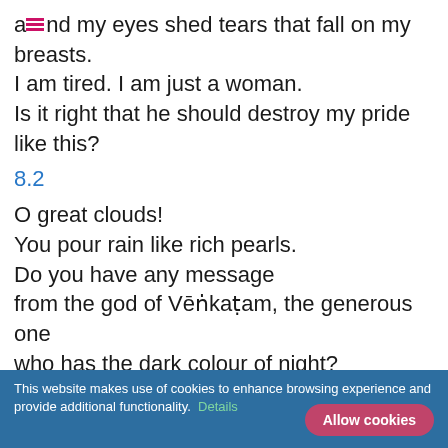and my eyes shed tears that fall on my breasts.
I am tired. I am just a woman.
Is it right that he should destroy my pride like this?
8.2
O great clouds!
You pour rain like rich pearls.
Do you have any message
from the god of Vēṅkaṭam, the generous one
who has the dark colour of night?
My love for him burns me like fire.
If in the middle of the night
the breeze comes and hurts me,
how will I survive?
This website makes use of cookies to enhance browsing experience and provide additional functionality. Details  Allow cookies